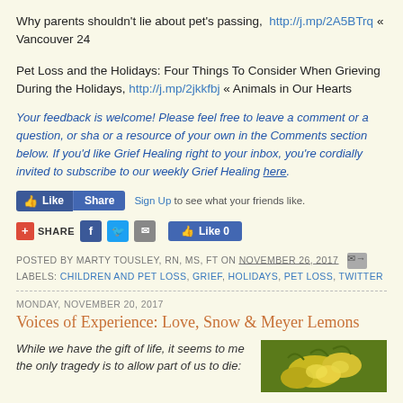Why parents shouldn't lie about pet's passing, http://j.mp/2A5BTrq « Vancouver 24
Pet Loss and the Holidays: Four Things To Consider When Grieving During the Holidays, http://j.mp/2jkkfbj « Animals in Our Hearts
Your feedback is welcome! Please feel free to leave a comment or a question, or share a link or a resource of your own in the Comments section below. If you'd like Grief Healing delivered right to your inbox, you're cordially invited to subscribe to our weekly Grief Healing here.
[Figure (other): Facebook Like and Share buttons with Sign Up text]
[Figure (other): Share bar with +SHARE, Facebook, Twitter, Email icons and Like 0 button]
POSTED BY MARTY TOUSLEY, RN, MS, FT ON NOVEMBER 26, 2017
LABELS: CHILDREN AND PET LOSS, GRIEF, HOLIDAYS, PET LOSS, TWITTER
MONDAY, NOVEMBER 20, 2017
Voices of Experience: Love, Snow & Meyer Lemons
While we have the gift of life, it seems to me the only tragedy is to allow part of us to die: